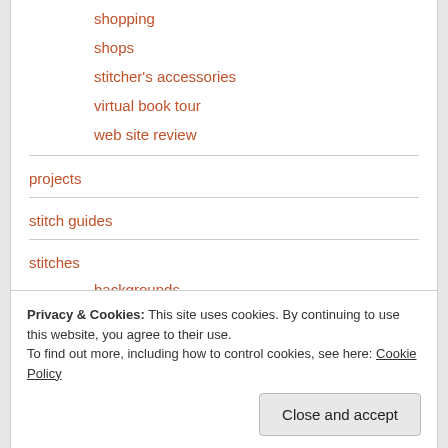shopping
shops
stitcher's accessories
virtual book tour
web site review
projects
stitch guides
stitches
backgrounds
diaper pattern
Privacy & Cookies: This site uses cookies. By continuing to use this website, you agree to their use.
To find out more, including how to control cookies, see here: Cookie Policy
blog